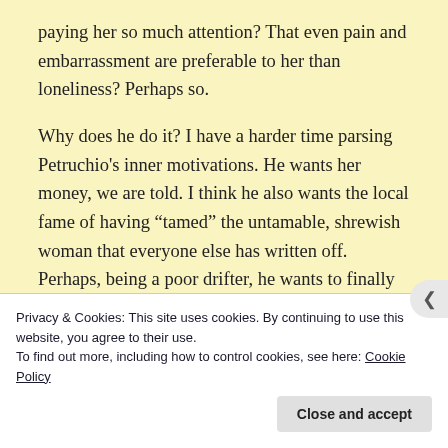paying her so much attention? That even pain and embarrassment are preferable to her than loneliness? Perhaps so.
Why does he do it? I have a harder time parsing Petruchio's inner motivations. He wants her money, we are told. I think he also wants the local fame of having “tamed” the untamable, shrewish woman that everyone else has written off. Perhaps, being a poor drifter, he wants to finally assert control over someone rather than being at the mercy of life’s whims. Perhaps someone more intimately familiar with the text of the play can enlighten
Privacy & Cookies: This site uses cookies. By continuing to use this website, you agree to their use.
To find out more, including how to control cookies, see here: Cookie Policy